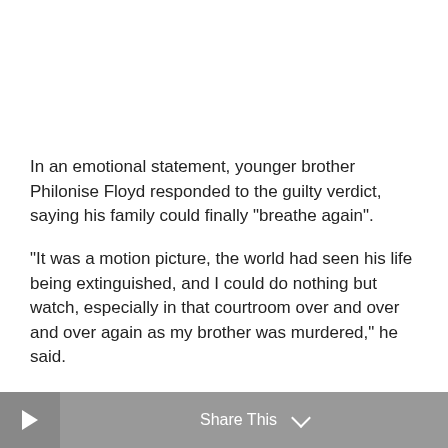In an emotional statement, younger brother Philonise Floyd responded to the guilty verdict, saying his family could finally "breathe again".
"It was a motion picture, the world had seen his life being extinguished, and I could do nothing but watch, especially in that courtroom over and over and over again as my brother was murdered," he said.
Share This